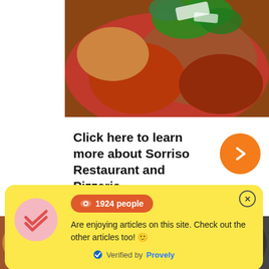[Figure (photo): Close-up photo of a pizza with tomato sauce, meat toppings, green arugula leaves, and white cheese shavings on top.]
Click here to learn more about Sorriso Restaurant and Pizzeria
Get To Know The Pretty Face Behind
[Figure (infographic): Yellow popup notification showing '1924 people' badge in orange/red, text 'Are enjoying articles on this site. Check out the other articles too! 🙂', and 'Verified by Provely' at the bottom. Has a close (x) button in top right corner.]
Restaurant & Pizzeria | July 2022
[Figure (photo): Small thumbnail of food dish at bottom left.]
[Figure (photo): Small thumbnail at bottom right area.]